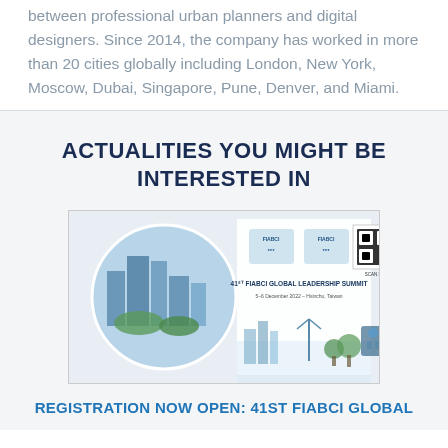between professional urban planners and digital designers. Since 2014, the company has worked in more than 20 cities globally including London, New York, Moscow, Dubai, Singapore, Pune, Denver, and Miami.
ACTUALITIES YOU MIGHT BE INTERESTED IN
[Figure (photo): 41st FIABCI Global Leadership Summit banner image showing city skyline, FIABCI logos, QR code, and summit details: 5-6 December 2022 - Hsinchu, Taiwan]
REGISTRATION NOW OPEN: 41ST FIABCI GLOBAL